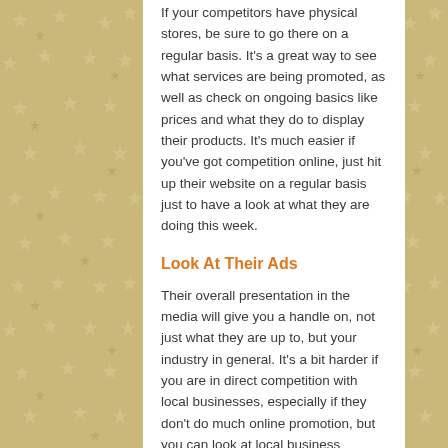If your competitors have physical stores, be sure to go there on a regular basis. It's a great way to see what services are being promoted, as well as check on ongoing basics like prices and what they do to display their products. It's much easier if you've got competition online, just hit up their website on a regular basis just to have a look at what they are doing this week.
Look At Their Ads
Their overall presentation in the media will give you a handle on, not just what they are up to, but your industry in general. It's a bit harder if you are in direct competition with local businesses, especially if they don't do much online promotion, but you can look at local business ratings. You can search Frog local directory, one such directory that provides local business ratings, and it gives you overall